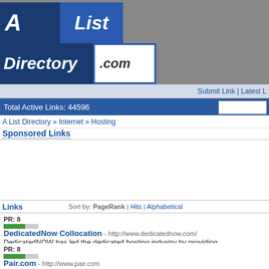[Figure (logo): A List Directory .com logo with dark blue background and italic white text]
Submit Link | Latest L
Total Active Links: 44596
A List Directory » Internet » Hosting
Sponsored Links
Links   Sort by: PageRank | Hits | Alphabetical
DedicatedNow Collocation - http://www.dedicatednow.com/ DedicatedNOW has led the dedicated hosting industry by providing comprehensi... adaptive customer support, DedicatedNOW leverages its partnerships and redun...
Pair.com - http://www.pair.com In business since 1996, Pair Networks has a Web Hosting plan that is right for yo...